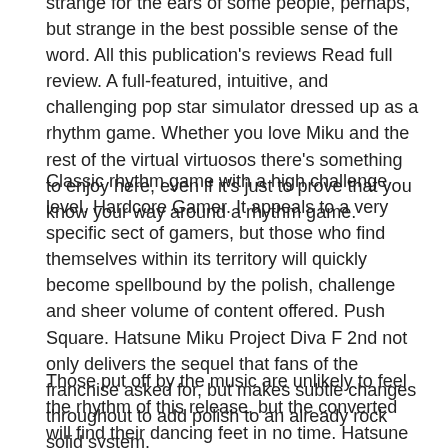strange for the ears of some people, perhaps, but strange in the best possible sense of the word. All this publication's reviews Read full review. A full-featured, intuitive, and challenging pop star simulator dressed up as a rhythm game. Whether you love Miku and the rest of the virtual virtuosos there's something to enjoy here, even if it's just to prove that you know your way around a rhythm game.
Classic rhythm game with a high challenge level. Hardcore Gamer. It appeals to a very specific sect of gamers, but those who find themselves within its territory will quickly become spellbound by the polish, challenge and sheer volume of content offered. Push Square. Hatsune Miku Project Diva F 2nd not only delivers the sequel that fans of the franchise asked for, but makes subtle changes throughout to add polish to an already rock solid system.
Those put off by the music are unlikely to feel the rhythm of this release, but the converted will find their dancing feet in no time. Hatsune Miku: Project Diva F 2nd is a great follow up that brings a better and more varied selection of 40 charming songs packed to challenge your fingertips.